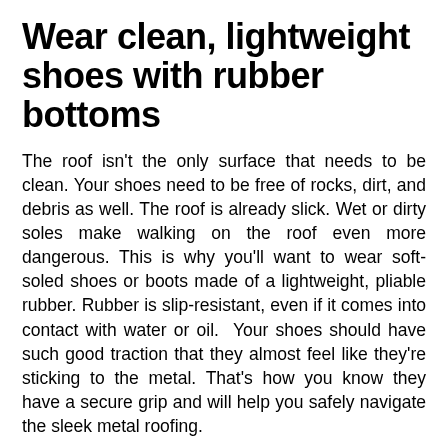Wear clean, lightweight shoes with rubber bottoms
The roof isn't the only surface that needs to be clean. Your shoes need to be free of rocks, dirt, and debris as well. The roof is already slick. Wet or dirty soles make walking on the roof even more dangerous. This is why you'll want to wear soft-soled shoes or boots made of a lightweight, pliable rubber. Rubber is slip-resistant, even if it comes into contact with water or oil.  Your shoes should have such good traction that they almost feel like they're sticking to the metal. That's how you know they have a secure grip and will help you safely navigate the sleek metal roofing.
What if it's raining?
Do not walk on a wet metal roof, period. In general, you should avoid walking on any wet rooftops, even asphalt or wood roofing. Your best bet is to reschedule roof work for a day with clear skies. If you have no other option, make sure you take every possible safety